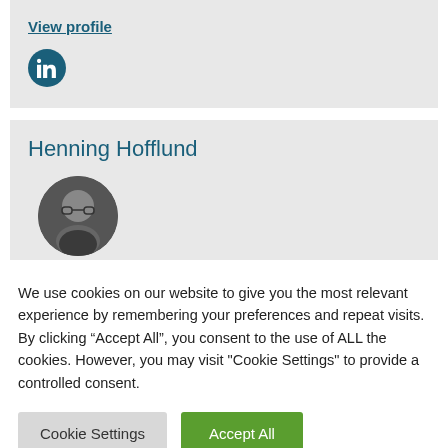View profile
[Figure (logo): LinkedIn logo icon — white 'in' on dark teal circular background]
Henning Hofflund
[Figure (photo): Black and white circular profile photo of a man wearing glasses]
We use cookies on our website to give you the most relevant experience by remembering your preferences and repeat visits. By clicking “Accept All”, you consent to the use of ALL the cookies. However, you may visit "Cookie Settings" to provide a controlled consent.
Cookie Settings
Accept All